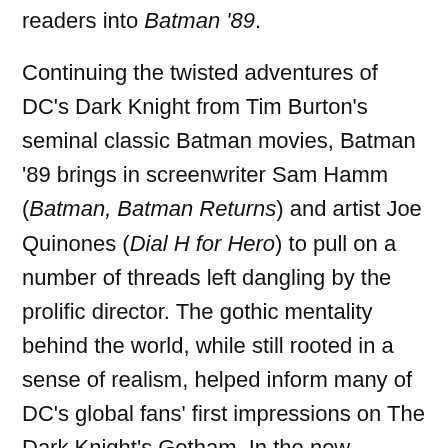readers into Batman '89.
Continuing the twisted adventures of DC's Dark Knight from Tim Burton's seminal classic Batman movies, Batman '89 brings in screenwriter Sam Hamm (Batman, Batman Returns) and artist Joe Quinones (Dial H for Hero) to pull on a number of threads left dangling by the prolific director. The gothic mentality behind the world, while still rooted in a sense of realism, helped inform many of DC's global fans' first impressions on The Dark Knight's Gotham. In the new Batman '89 comic, Hamm and Quinones will help usher in the return of Selina Kyle/Catwoman and will debut a new Robin! Plus, Quinones has a vision for Harvey Dent/Two-Face that is as close to movie magic as a comic can get!